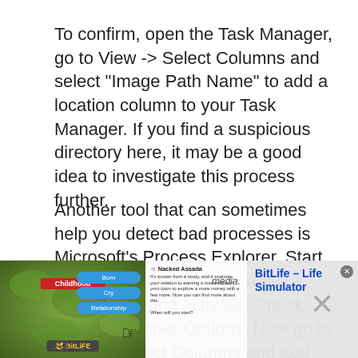To confirm, open the Task Manager, go to View -> Select Columns and select "Image Path Name" to add a location column to your Task Manager. If you find a suspicious directory here, it may be a good idea to investigate this process further.
Another tool that can sometimes help you detect bad processes is Microsoft's Process Explorer. Start the program (it does not require installation) and activate "Check Legends" under Options. Now go to View -> Select Columns and add "Verified Signer" as
[Figure (screenshot): An advertisement overlay for BitLife - Life Simulator app, showing a game screenshot with Childhood label, menu buttons, a hand cursor icon, BitLife logo, and the app name in blue text on the right side. An X close button is visible.]
Ad